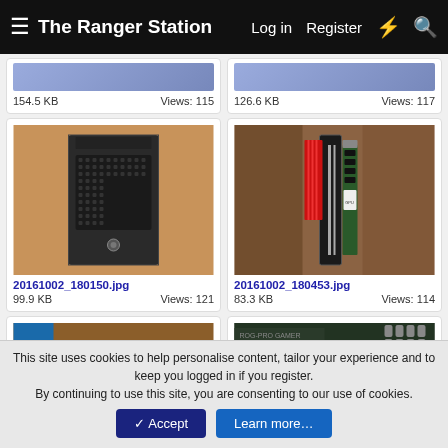The Ranger Station  Log in  Register
[Figure (photo): Partial top of two gallery cards showing file sizes 154.5 KB Views: 115 and 126.6 KB Views: 117]
[Figure (photo): Photo of a dark computer tower/case]
20161002_180150.jpg
99.9 KB   Views: 121
[Figure (photo): Photo of a GPU graphics card with red heatsink on a wooden surface]
20161002_180453.jpg
83.3 KB   Views: 114
[Figure (photo): Partial photo of a keyboard on wooden surface]
[Figure (photo): Partial photo of an ASUS motherboard with CPU installed]
This site uses cookies to help personalise content, tailor your experience and to keep you logged in if you register.
By continuing to use this site, you are consenting to our use of cookies.
✓ Accept   Learn more…